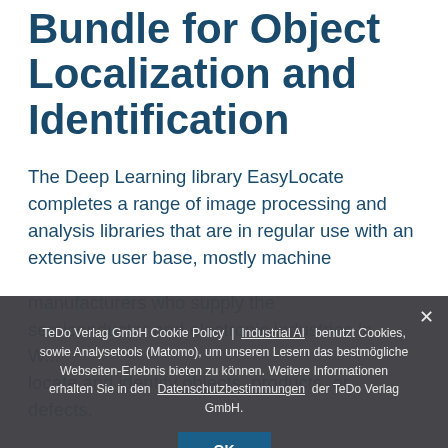Bundle for Object Localization and Identification
The Deep Learning library EasyLocate completes a range of image processing and analysis libraries that are in regular use with an extensive user base, mostly machine manufacturers who supply the semiconductor and electronic industries in W...
locate and identify objects, products, or defects.
TeDo Verlag GmbH Cookie Policy | Industrial AI benutzt Cookies, sowie Analysetools (Matomo), um unseren Lesern das bestmögliche Webseiten-Erlebnis bieten zu können. Weitere Informationen erhalten Sie in den Datenschutzbestimmungen der TeDo Verlag GmbH.